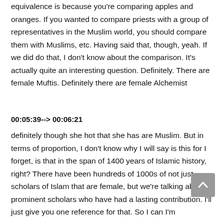equivalence is because you're comparing apples and oranges. If you wanted to compare priests with a group of representatives in the Muslim world, you should compare them with Muslims, etc. Having said that, though, yeah. If we did do that, I don't know about the comparison. It's actually quite an interesting question. Definitely. There are female Muftis. Definitely there are female Alchemist
00:05:39--> 00:06:21
definitely though she hot that she has are Muslim. But in terms of proportion, I don't know why I will say is this for I forget, is that in the span of 1400 years of Islamic history, right? There have been hundreds of 1000s of not just scholars of Islam that are female, but we're talking about prominent scholars who have had a lasting contribution. I'll just give you one reference for that. So I can I'm